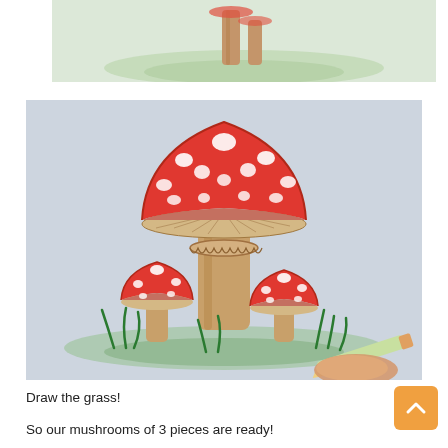[Figure (illustration): Partial view of a colored pencil drawing of a mushroom (red cap with white spots) against a light green grassy background, cropped at the top]
[Figure (illustration): A colored pencil drawing of three mushrooms (red caps with white spots, tan stems) with green grass at the base, a hand holding a green pencil visible at the bottom right corner, on a light gray background]
Draw the grass!
So our mushrooms of 3 pieces are ready!